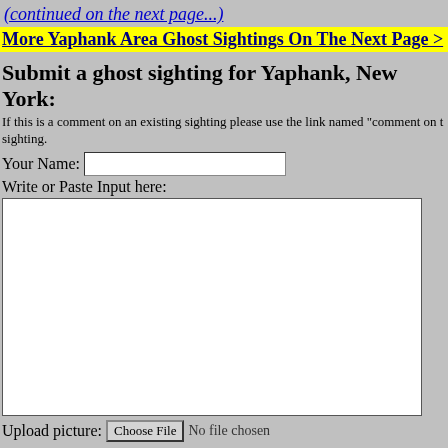(continued on the next page...)
More Yaphank Area Ghost Sightings On The Next Page >
Submit a ghost sighting for Yaphank, New York:
If this is a comment on an existing sighting please use the link named "comment on t sighting.
Your Name: [input field]
Write or Paste Input here:
[textarea]
Upload picture: Choose File  No file chosen
Submit
If you want to upload more pictures just go back after
you submit and keep submitting as many pics as you want.
IMPORTANT LEGAL NOTICE